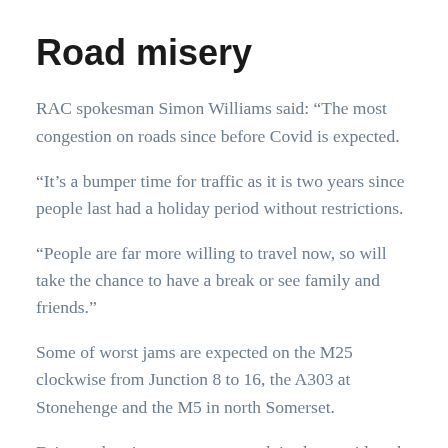Road misery
RAC spokesman Simon Williams said: “The most congestion on roads since before Covid is expected.
“It’s a bumper time for traffic as it is two years since people last had a holiday period without restrictions.
“People are far more willing to travel now, so will take the chance to have a break or see family and friends.”
Some of worst jams are expected on the M25 clockwise from Junction 8 to 16, the A303 at Stonehenge and the M5 in north Somerset.
Drivers planning getaways are advised to avoid peak travel hours if they want to dodge the worst jams.